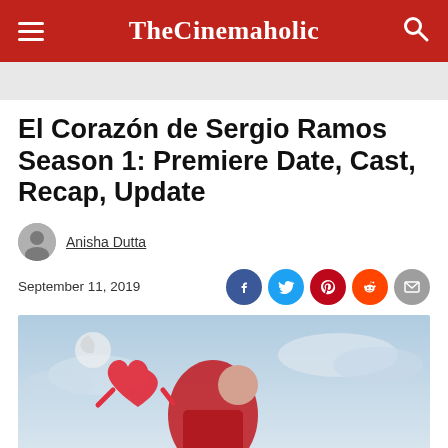TheCinemaholic
El Corazón de Sergio Ramos Season 1: Premiere Date, Cast, Recap, Update
Anisha Dutta
September 11, 2019
[Figure (photo): El Corazón de Sergio Ramos show promotional image featuring a figure in red with an animated heart character against a cloudy sky background]